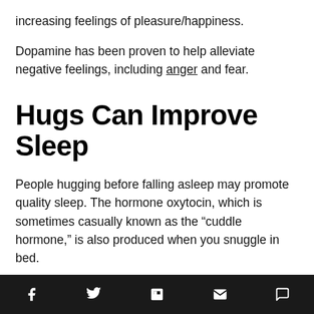increasing feelings of pleasure/happiness.
Dopamine has been proven to help alleviate negative feelings, including anger and fear.
Hugs Can Improve Sleep
People hugging before falling asleep may promote quality sleep. The hormone oxytocin, which is sometimes casually known as the “cuddle hormone,” is also produced when you snuggle in bed.
It has a calming effect that helps you fall asleep faster, especially if you’re struggling with insomnia. If you find that sleeping while cuddled up makes you wake up
Social share icons: Facebook, Twitter, Flipboard, Email, Comment